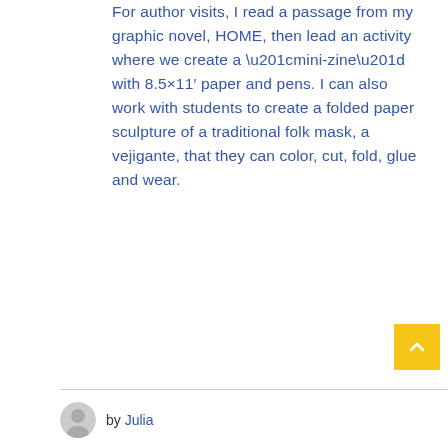For author visits, I read a passage from my graphic novel, HOME, then lead an activity where we create a “mini-zine” with 8.5×11’ paper and pens. I can also work with students to create a folded paper sculpture of a traditional folk mask, a vejigante, that they can color, cut, fold, glue and wear.
by Julia